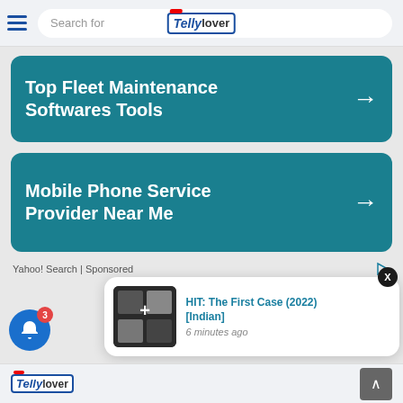TellyLover — Search for
[Figure (screenshot): Advertisement card 1: Top Fleet Maintenance Softwares Tools with arrow, teal background]
[Figure (screenshot): Advertisement card 2: Mobile Phone Service Provider Near Me with arrow, teal background]
Yahoo! Search | Sponsored
[Figure (screenshot): Notification popup: HIT: The First Case (2022) [Indian] — 6 minutes ago, with movie thumbnail and X close button]
[Figure (screenshot): Bell notification button with badge showing 3]
TellyLover logo and scroll-to-top button